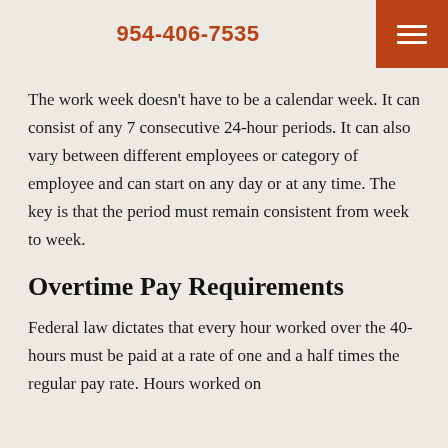954-406-7535
The work week doesn't have to be a calendar week. It can consist of any 7 consecutive 24-hour periods. It can also vary between different employees or category of employee and can start on any day or at any time. The key is that the period must remain consistent from week to week.
Overtime Pay Requirements
Federal law dictates that every hour worked over the 40-hours must be paid at a rate of one and a half times the regular pay rate. Hours worked on